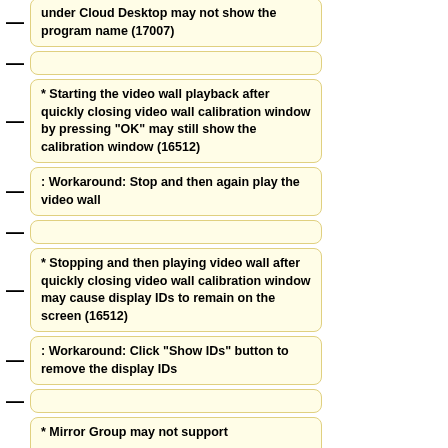under Cloud Desktop may not show the program name (17007)
* Starting the video wall playback after quickly closing video wall calibration window by pressing "OK" may still show the calibration window (16512)
: Workaround: Stop and then again play the video wall
* Stopping and then playing video wall after quickly closing video wall calibration window may cause display IDs to remain on the screen (16512)
: Workaround: Click "Show IDs" button to remove the display IDs
* Mirror Group may not support